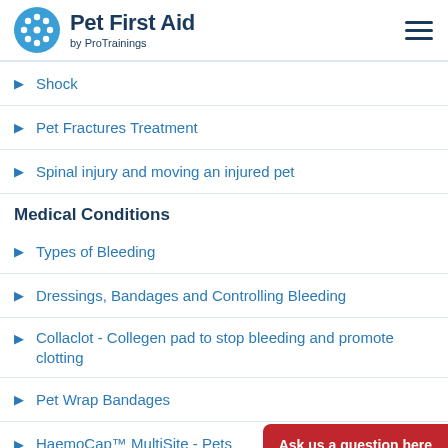Pet First Aid by ProTrainings
Shock
Pet Fractures Treatment
Spinal injury and moving an injured pet
Medical Conditions
Types of Bleeding
Dressings, Bandages and Controlling Bleeding
Collaclot - Collegen pad to stop bleeding and promote clotting
Pet Wrap Bandages
HaemoCap™ MultiSite - Pets